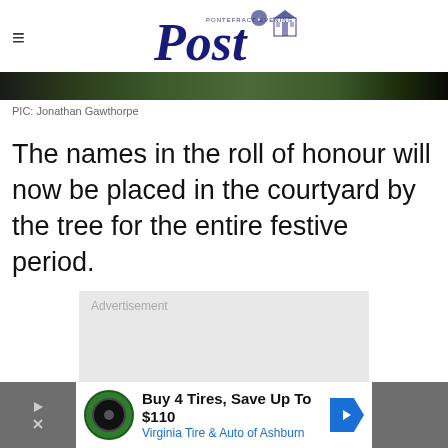Pontefract Evening Post
[Figure (photo): Cropped photo strip showing outdoor scene]
PIC: Jonathan Gawthorpe
The names in the roll of honour will now be placed in the courtyard by the tree for the entire festive period.
[Figure (other): Advertisement placeholder box]
[Figure (other): Bottom banner ad: Buy 4 Tires, Save Up To $110 – Virginia Tire & Auto of Ashburn]